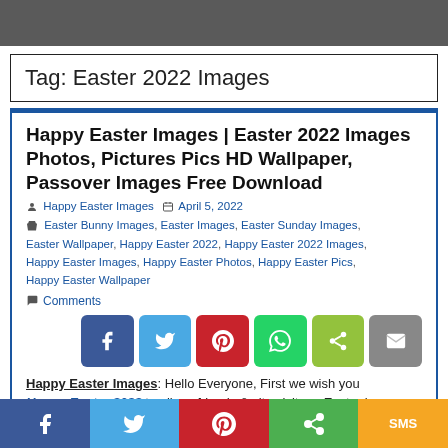Tag: Easter 2022 Images
Happy Easter Images | Easter 2022 Images Photos, Pictures Pics HD Wallpaper, Passover Images Free Download
Happy Easter Images  April 5, 2022
Easter Bunny Images, Easter Images, Easter Sunday Images, Easter Wallpaper, Happy Easter 2022, Happy Easter 2022 Images, Happy Easter Images, Happy Easter Photos, Happy Easter Pics, Happy Easter Wallpaper
Comments
[Figure (infographic): Social share buttons: Facebook (blue), Twitter (light blue), Pinterest (red), WhatsApp (green), Share (yellow-green), Email (gray)]
Happy Easter Images: Hello Everyone, First we wish you Happy Easter 2022 to all my friends & site visitors. Easter is a